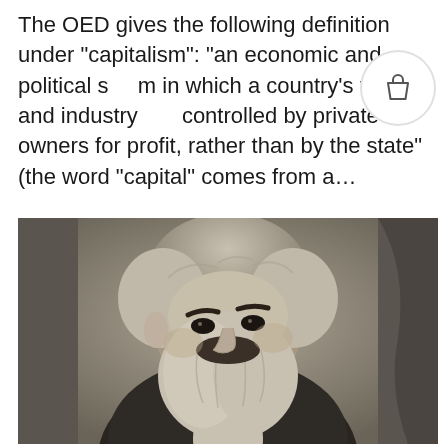The OED gives the following definition under “capitalism”: “an economic and political system in which a country’s trade and industry are controlled by private owners for profit, rather than by the state” (the word “capital” comes from a…
[Figure (photo): Black and white portrait photograph of Karl Marx, an older bearded man with voluminous white hair and a large beard, wearing a dark suit jacket, seated and looking slightly to his left.]